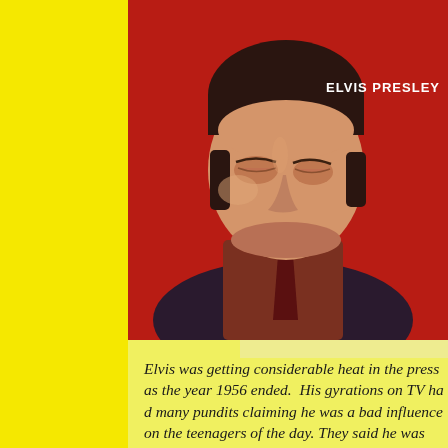[Figure (photo): Black and white / color photo of Elvis Presley looking downward, wearing a dark jacket and tie, set against a red background. Text 'ELVIS PRESLEY' appears in white in the upper right of the image.]
Elvis was getting considerable heat in the press as the year 1956 ended. His gyrations on TV had many pundits claiming he was a bad influence on the teenagers of the day. They said he was old to...